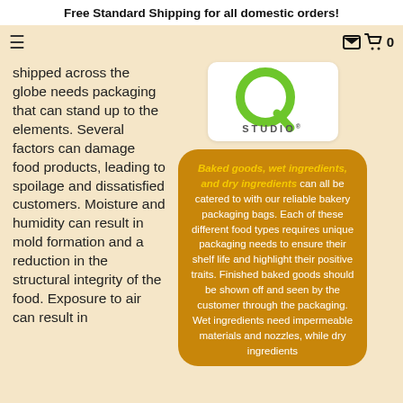Free Standard Shipping for all domestic orders!
shipped across the globe needs packaging that can stand up to the elements. Several factors can damage food products, leading to spoilage and dissatisfied customers. Moisture and humidity can result in mold formation and a reduction in the structural integrity of the food. Exposure to air can result in
[Figure (logo): Q Studio logo — green Q with STUDIO text below on white rounded rectangle background]
Baked goods, wet ingredients, and dry ingredients can all be catered to with our reliable bakery packaging bags. Each of these different food types requires unique packaging needs to ensure their shelf life and highlight their positive traits. Finished baked goods should be shown off and seen by the customer through the packaging. Wet ingredients need impermeable materials and nozzles, while dry ingredients